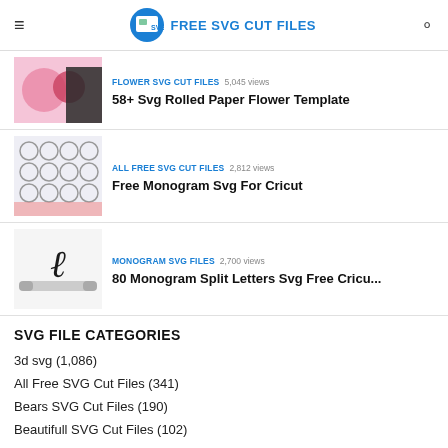FREE SVG CUT FILES
FLOWER SVG CUT FILES · 5,045 views — 58+ Svg Rolled Paper Flower Template
ALL FREE SVG CUT FILES · 2,812 views — Free Monogram Svg For Cricut
MONOGRAM SVG FILES · 2,700 views — 80 Monogram Split Letters Svg Free Cricu...
SVG FILE CATEGORIES
3d svg (1,086)
All Free SVG Cut Files (341)
Bears SVG Cut Files (190)
Beautifull SVG Cut Files (102)
Christmas SVG Cut Files (568)